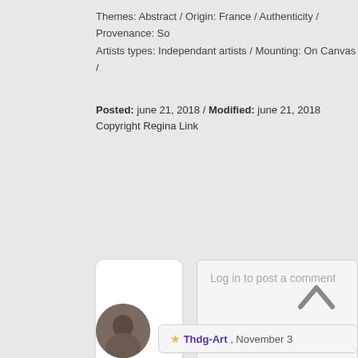Themes: Abstract  /   Origin: France  /   Authenticity / Provenance: So
Artists types: Independant artists  /   Mounting: On Canvas  /
Posted: june 21, 2018 / Modified: june 21, 2018
Copyright Regina Link
Log in to post a comment
You
[Figure (other): Back to top chevron arrow button]
[Figure (photo): Commenter avatar photo, circular, dark tones]
★ Thdg-Art , November 3